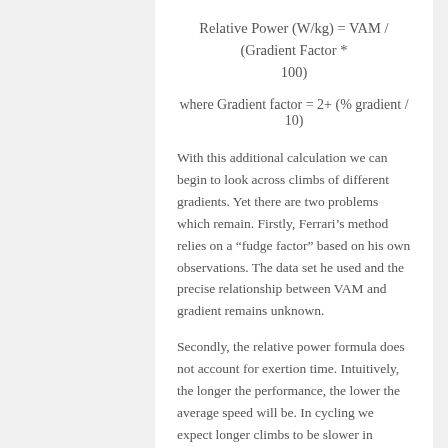With this additional calculation we can begin to look across climbs of different gradients. Yet there are two problems which remain. Firstly, Ferrari’s method relies on a “fudge factor” based on his own observations. The data set he used and the precise relationship between VAM and gradient remains unknown.
Secondly, the relative power formula does not account for exertion time. Intuitively, the longer the performance, the lower the average speed will be. In cycling we expect longer climbs to be slower in performance terms than shorter ones. Thus, even the best current methods are likely to be reliable only if considering performances of comparable length. A 40 minute effort should be related to